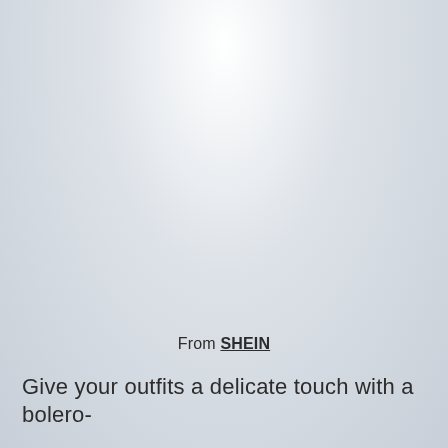From SHEIN
Give your outfits a delicate touch with a bolero-